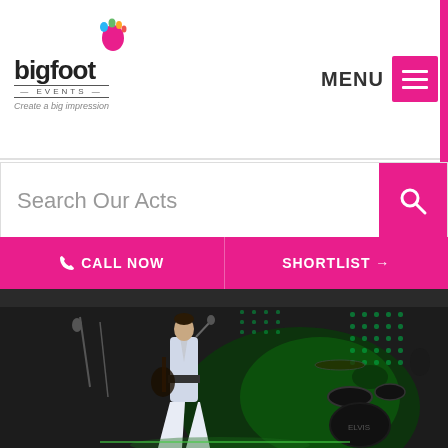[Figure (logo): Bigfoot Events logo with colorful foot icon, text 'bigfoot', 'EVENTS' subtitle, and tagline 'Create a big impression']
MENU
Search Our Acts
CALL NOW
SHORTLIST →
[Figure (photo): An Elvis tribute performer on stage wearing a white jumpsuit and playing guitar, with a drummer and green lit background with dot-matrix LED panels]